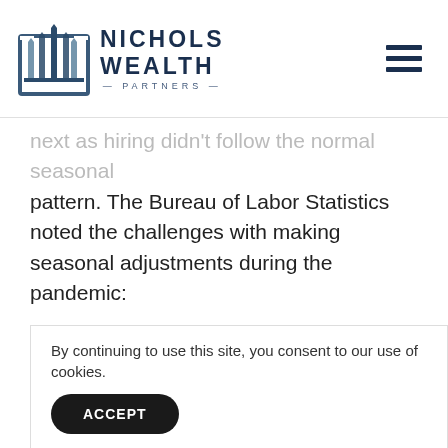[Figure (logo): Nichols Wealth Partners logo with stylized building/spire icon and company name text]
next as hiring didn't follow the normal seasonal pattern. The Bureau of Labor Statistics noted the challenges with making seasonal adjustments during the pandemic:
“Recent education employment changes are challenging to interpret, as pandemic-related staffing fluctuations in public and private education have disrupted the seasonal patterns
By continuing to use this site, you consent to our use of cookies.
ACCEPT